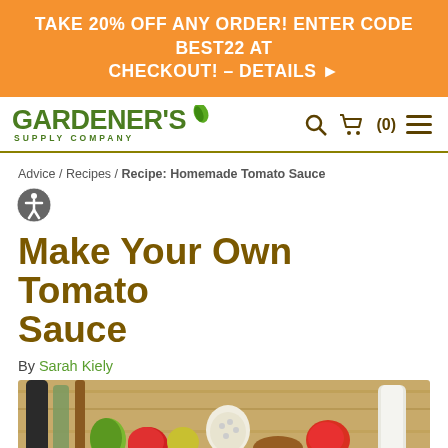TAKE 20% OFF ANY ORDER! ENTER CODE BEST22 AT CHECKOUT! – DETAILS ▶
[Figure (logo): Gardener's Supply Company logo with green leaf accent, search icon, cart icon with (0), and hamburger menu icon]
Advice / Recipes / Recipe: Homemade Tomato Sauce
Make Your Own Tomato Sauce
By Sarah Kiely
[Figure (photo): Photo of tomatoes, garlic, peppers and spices on a wooden cutting board]